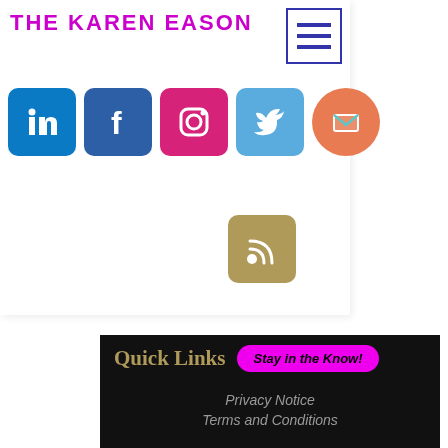THE KAREN EASON
[Figure (screenshot): Social media icons row: LinkedIn (blue), Facebook (dark blue), Instagram (pink/magenta), Twitter (light blue), Email (orange circle), and RSS feed (tan/gold) icon below]
ydfraunfelter129917/profile
https://www.nealtheearthling.com/profile/josenetkowicz180352/profile
Quick Links
Stay in the Know!
Privacy Notice
Terms and Conditions